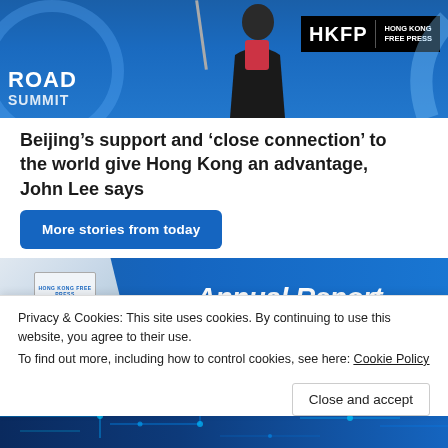[Figure (photo): Photo of a speaker at a podium at a Road Summit event, with HKFP Hong Kong Free Press logo badge in upper right, blue background with decorative arc]
Beijing’s support and ‘close connection’ to the world give Hong Kong an advantage, John Lee says
More stories from today
[Figure (photo): Hong Kong Free Press Annual Report banner with a person holding the HKFP Annual Report booklet on the left and 'Annual Report' text in white italic on blue background on the right]
[Figure (photo): Partial banner/image strip — blue gradient background with lighter photo section partially visible on left]
Privacy & Cookies: This site uses cookies. By continuing to use this website, you agree to their use.
To find out more, including how to control cookies, see here: Cookie Policy
Close and accept
[Figure (photo): Partial image at bottom showing circuit board / technology themed image with blue tones]